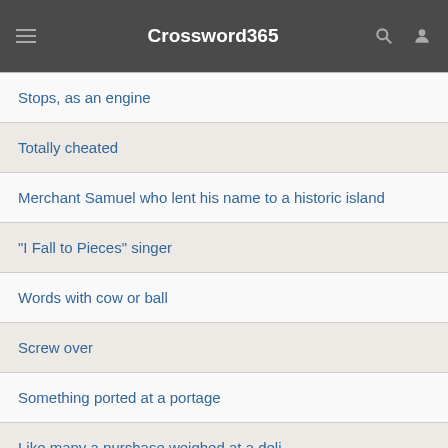Crossword365
Stops, as an engine
Totally cheated
Merchant Samuel who lent his name to a historic island
"I Fall to Pieces" singer
Words with cow or ball
Screw over
Something ported at a portage
Like many a purchase weighed at a deli
Guidelines observed in sisterhood